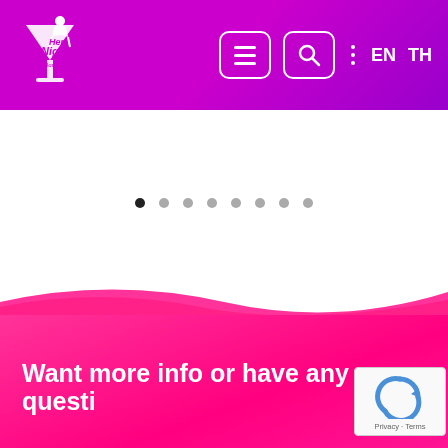[Figure (screenshot): Website header/navigation bar with purple gradient background. Shows 'Hen Night Bangkok' logo with martini glass and female silhouette icon on the left. Navigation icons: hamburger menu, search (magnifying glass in rounded square), vertical three dots. Language selectors: EN and TH on the right.]
[Figure (screenshot): White content area with a carousel/slider indicator showing 8 dots, the first (leftmost) dot is filled/dark indicating current slide, remaining 7 are light gray.]
[Figure (screenshot): Pink/hot pink section below the slider with a wave transition from white. Contains partial text reading 'Want more info or have any questi' in white bold font. A reCAPTCHA privacy badge is visible in the bottom-right corner.]
Want more info or have any questi
EN   TH
Privacy · Terms